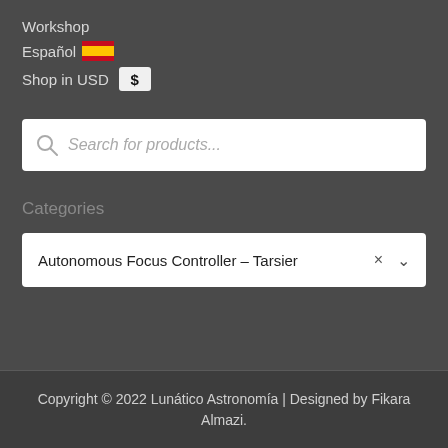Workshop
Español 🇪🇸
Shop in USD $
Search for products...
Categories
Autonomous Focus Controller – Tarsier
Copyright © 2022 Lunático Astronomía | Designed by Fikara Almazi.